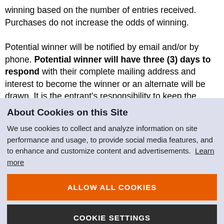winning based on the number of entries received. Purchases do not increase the odds of winning.

Potential winner will be notified by email and/or by phone. Potential winner will have three (3) days to respond with their complete mailing address and interest to become the winner or an alternate will be drawn. It is the entrant's responsibility to keep the email
About Cookies on this Site
We use cookies to collect and analyze information on site performance and usage, to provide social media features, and to enhance and customize content and advertisements. Learn more
ALLOW ALL COOKIES
COOKIE SETTINGS